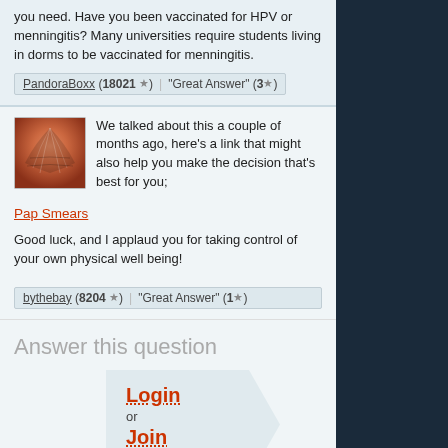you need. Have you been vaccinated for HPV or menningitis? Many universities require students living in dorms to be vaccinated for menningitis.
PandoraBoxx (18021 ★)  "Great Answer" (3★)
We talked about this a couple of months ago, here's a link that might also help you make the decision that's best for you;
Pap Smears
Good luck, and I applaud you for taking control of your own physical well being!
bythebay (8204 ★)  "Great Answer" (1★)
Answer this question
Login or Join to answer.